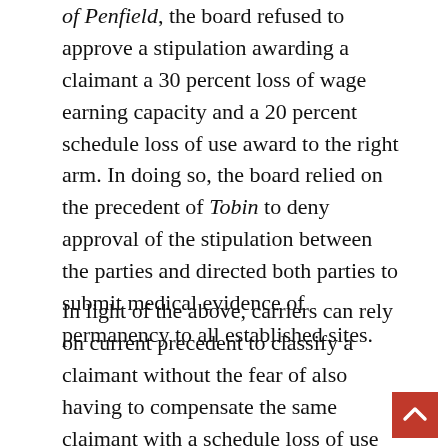of Penfield, the board refused to approve a stipulation awarding a claimant a 30 percent loss of wage earning capacity and a 20 percent schedule loss of use award to the right arm. In doing so, the board relied on the precedent of Tobin to deny approval of the stipulation between the parties and directed both parties to submit medical evidence of permanency to all established sites.
In light of the above, carriers can rely on current precedent to classify a claimant without the fear of also having to compensate the same claimant with a schedule loss of use award.[1] However, the recent practice of the board demonstrates that the parties also will not be able to stipulate to